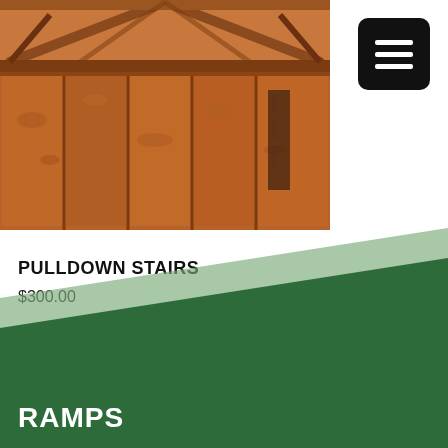[Figure (photo): Interior of a wood shed showing OSB plywood walls and a peaked roof with exposed wooden rafters and beams, with attic loft area visible.]
PULLDOWN STAIRS
$300.00
[Figure (illustration): Dark green diagonal shape with lighter green accent stripe forming the RAMPS section background banner.]
RAMPS